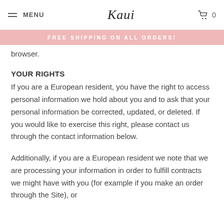MENU | Kaui | 0
FREE SHIPPING ON ALL ORDERS!
browser.
YOUR RIGHTS
If you are a European resident, you have the right to access personal information we hold about you and to ask that your personal information be corrected, updated, or deleted. If you would like to exercise this right, please contact us through the contact information below.
Additionally, if you are a European resident we note that we are processing your information in order to fulfill contracts we might have with you (for example if you make an order through the Site), or